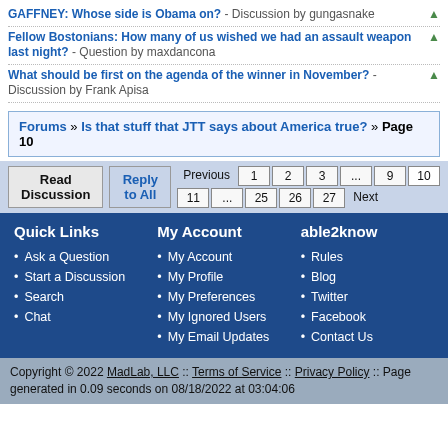GAFFNEY: Whose side is Obama on? - Discussion by gungasnake
Fellow Bostonians: How many of us wished we had an assault weapon last night? - Question by maxdancona
What should be first on the agenda of the winner in November? - Discussion by Frank Apisa
Forums » Is that stuff that JTT says about America true? » Page 10
Read Discussion | Reply to All | Previous 1 2 3 ... 9 10 | 11 ... 25 26 27 Next
Quick Links
Ask a Question
Start a Discussion
Search
Chat
My Account
My Account
My Profile
My Preferences
My Ignored Users
My Email Updates
able2know
Rules
Blog
Twitter
Facebook
Contact Us
Copyright © 2022 MadLab, LLC :: Terms of Service :: Privacy Policy :: Page generated in 0.09 seconds on 08/18/2022 at 03:04:06